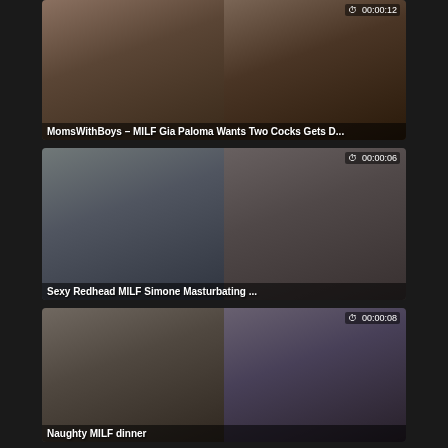[Figure (screenshot): Video thumbnail grid card 1: MomsWithBoys - MILF Gia Paloma Wants Two Cocks Gets D... Duration: 00:00:12]
[Figure (screenshot): Video thumbnail grid card 2: Sexy Redhead MILF Simone Masturbating ... Duration: 00:00:06]
[Figure (screenshot): Video thumbnail grid card 3: Naughty MILF dinner. Duration: 00:00:08]